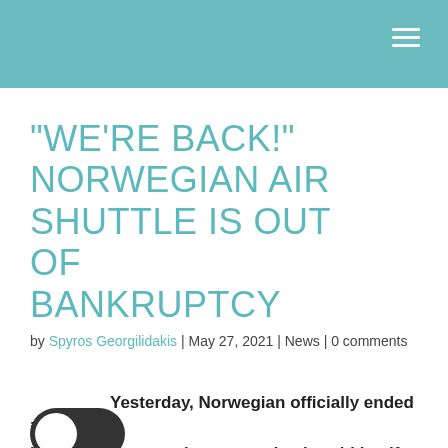“WE’RE BACK!” NORWEGIAN AIR SHUTTLE IS OUT OF BANKRUPTCY
by Spyros Georgilidakis | May 27, 2021 | News | 0 comments
Yesterday, Norwegian officially ended its bankruptcy protection status, having rid itself of most of its debt. But they still face